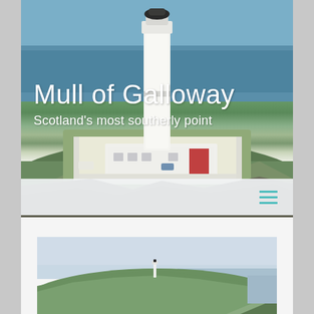[Figure (photo): Aerial photograph of Mull of Galloway lighthouse complex. A tall white cylindrical lighthouse stands prominently in center, surrounded by white-painted low buildings and a walled compound on a rocky coastal headland. The sea is visible in the background under a blue sky.]
Mull of Galloway
Scotland's most southerly point
[Figure (screenshot): Navigation bar with hamburger menu icon (three horizontal teal/cyan lines) on the right side, semi-transparent light grey background]
[Figure (photo): Distant photo of Mull of Galloway headland showing green grassy cliffs with the lighthouse visible as a small white structure in the distance, sea and sky in background]